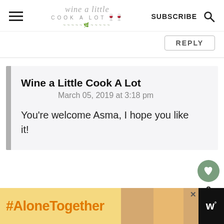wine a little cook a lot | SUBSCRIBE [search icon]
REPLY
Wine a Little Cook A Lot
March 05, 2019 at 3:18 pm

You're welcome Asma, I hope you like it!
[Figure (screenshot): Advertisement banner with '#AloneTogether' text in orange on yellow background, a photo of a woman in a kitchen, and a dark background with a 'W°' logo.]